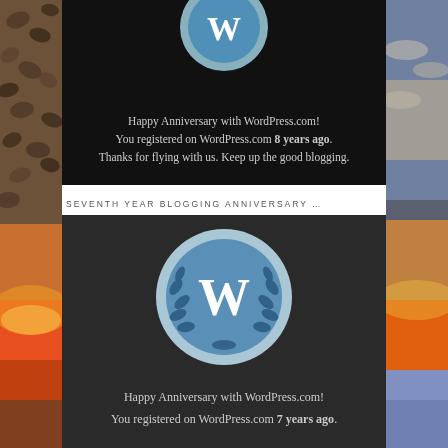[Figure (photo): Left sidebar: decorative photo strip showing coffee beans and sunset sky]
[Figure (photo): Right sidebar: decorative photo strip showing sunset clouds]
[Figure (illustration): Top black card with WordPress logo (partially visible at top) and anniversary message: 'Happy Anniversary with WordPress.com! You registered on WordPress.com 8 years ago. Thanks for flying with us. Keep up the good blogging.']
SEVENTH YEAR BLOGGING ANNIVERSARY … WORDPRESS
[Figure (illustration): Dark grey card with WordPress logo badge (W in circle with laurel wreath) and anniversary message: 'Happy Anniversary with WordPress.com! You registered on WordPress.com 7 years ago.']